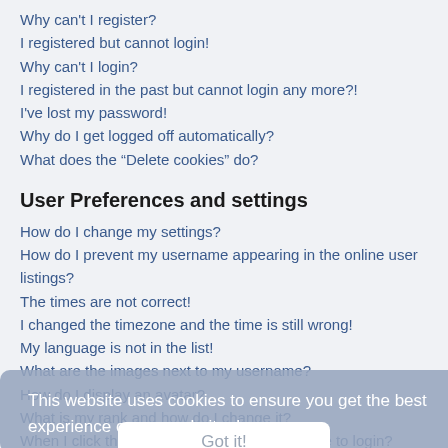Why can't I register?
I registered but cannot login!
Why can't I login?
I registered in the past but cannot login any more?!
I've lost my password!
Why do I get logged off automatically?
What does the “Delete cookies” do?
User Preferences and settings
How do I change my settings?
How do I prevent my username appearing in the online user listings?
The times are not correct!
I changed the timezone and the time is still wrong!
My language is not in the list!
What are the images next to my username?
How do I display an avatar?
What is my rank and how do I change it?
When I click the email link for a user it asks me to login?
Posting Issues
How do I create a new topic or post a reply?
How do I edit or delete a post?
How do I add a signature to my post?
This website uses cookies to ensure you get the best experience on our website. Learn more
Got it!